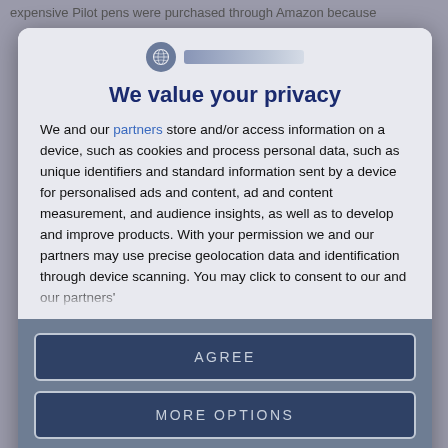expensive Pilot pens were purchased through Amazon because
[Figure (logo): Website logo icon (globe/shield) with site name text bar]
We value your privacy
We and our partners store and/or access information on a device, such as cookies and process personal data, such as unique identifiers and standard information sent by a device for personalised ads and content, ad and content measurement, and audience insights, as well as to develop and improve products. With your permission we and our partners may use precise geolocation data and identification through device scanning. You may click to consent to our and our partners'
AGREE
MORE OPTIONS
DISAGREE